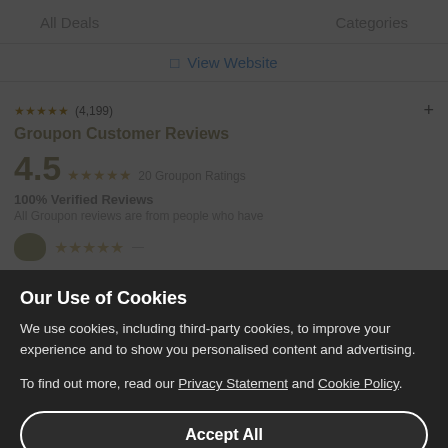All Deals    Categories
View Website
(4,199)
Groupon Customer Reviews
4.5  20 Groupon Ratings
100% Verified Reviews
All Groupon reviews are from people who have
Our Use of Cookies
We use cookies, including third-party cookies, to improve your experience and to show you personalised content and advertising.
To find out more, read our Privacy Statement and Cookie Policy.
Accept All
Reject All
My Options
Select Dates